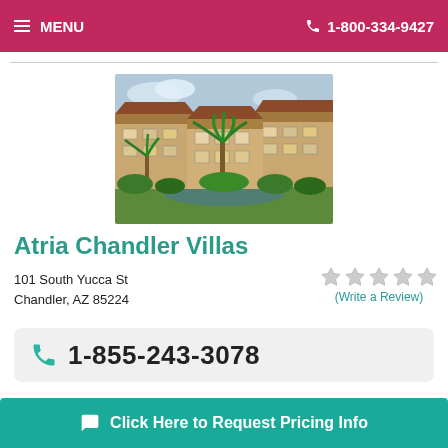MENU  1-800-334-9427
[Figure (photo): Exterior photo of Atria Chandler Villas senior community showing multi-story beige building with palm trees and landscaped grounds]
Atria Chandler Villas
101 South Yucca St
Chandler, AZ 85224
(Write a Review)
1-855-243-3078
Atria Chandler Villas is a senior community serving people 6...n...
Click Here to Request Pricing Info